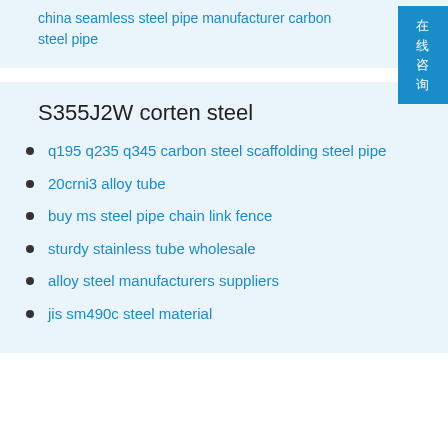china seamless steel pipe manufacturer carbon steel pipe
S355J2W corten steel
q195 q235 q345 carbon steel scaffolding steel pipe
20crni3 alloy tube
buy ms steel pipe chain link fence
sturdy stainless tube wholesale
alloy steel manufacturers suppliers
jis sm490c steel material